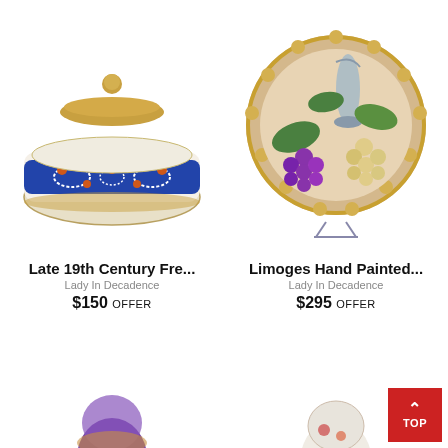[Figure (photo): Late 19th Century French porcelain inkwell with brass lid, blue and white with orange floral decoration]
Late 19th Century Fre...
Lady In Decadence
$150 OFFER
[Figure (photo): Limoges hand painted decorative plate with grapes and pitcher motif, gold scalloped edge]
Limoges Hand Painted...
Lady In Decadence
$295 OFFER
[Figure (photo): Bottom left partial view of a small iridescent purple/gold ceramic vase]
[Figure (photo): Bottom right partial view of a white ceramic piece with floral decoration]